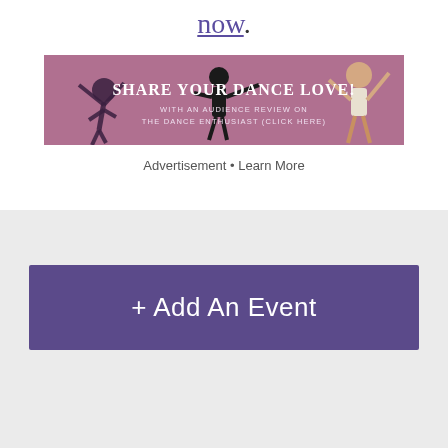now.
[Figure (illustration): Banner advertisement with pink/mauve background showing dancers and text 'Share Your Dance Love! With an audience review on The Dance Enthusiast (Click Here)']
Advertisement • Learn More
+ Add An Event